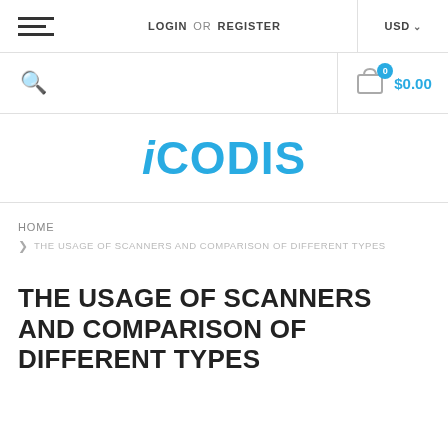LOGIN OR REGISTER   USD
$0.00
[Figure (logo): iCODIS logo in blue text]
HOME
> THE USAGE OF SCANNERS AND COMPARISON OF DIFFERENT TYPES
THE USAGE OF SCANNERS AND COMPARISON OF DIFFERENT TYPES